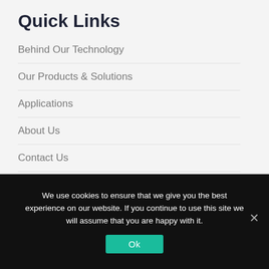Quick Links
Behind Our Technology
Our Products & Solutions
Applications
About Us
Contact Us
News & PR
We use cookies to ensure that we give you the best experience on our website. If you continue to use this site we will assume that you are happy with it.